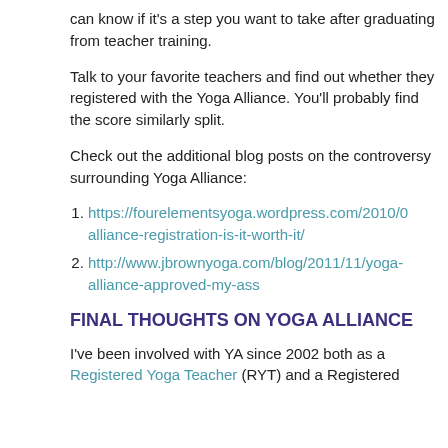can know if it's a step you want to take after graduating from teacher training.
Talk to your favorite teachers and find out whether they registered with the Yoga Alliance. You'll probably find the score similarly split.
Check out the additional blog posts on the controversy surrounding Yoga Alliance:
https://fourelementsyoga.wordpress.com/2010/0 alliance-registration-is-it-worth-it/
http://www.jbrownyoga.com/blog/2011/11/yoga- alliance-approved-my-ass
FINAL THOUGHTS ON YOGA ALLIANCE
I've been involved with YA since 2002 both as a Registered Yoga Teacher (RYT) and a Registered